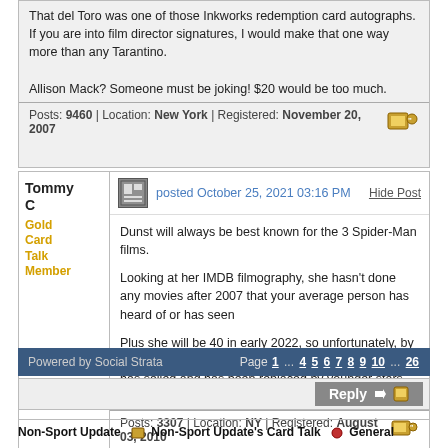That del Toro was one of those Inkworks redemption card autographs. If you are into film director signatures, I would make that one way more than any Tarantino.

Allison Mack? Someone must be joking! $20 would be too much.
Posts: 9460 | Location: New York | Registered: November 20, 2007
Tommy C
Gold Card Talk Member
posted October 25, 2021 03:16 PM
Hide Post
Dunst will always be best known for the 3 Spider-Man films.

Looking at her IMDB filmography, she hasn't done any movies after 2007 that your average person has heard of or has seen

Plus she will be 40 in early 2022, so unfortunately, by Hollywood standards, she is someone whose ship has sailed and has been replaced by younger stars.
Posts: 3307 | Location: NY | Registered: August 03, 2010
Powered by Social Strata   Page 1 ... 4 5 6 7 8 9 10 ... 26
Reply
Non-Sport Update  Non-Sport Update's Card Talk  General